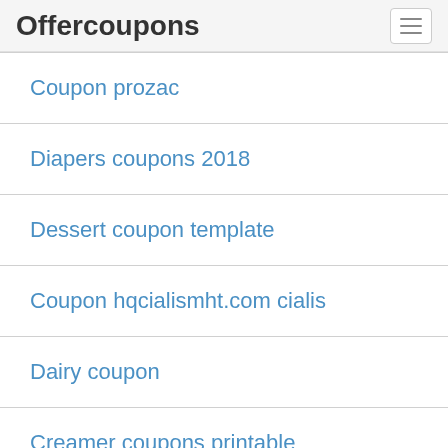Offercoupons
Coupon prozac
Diapers coupons 2018
Dessert coupon template
Coupon hqcialismht.com cialis
Dairy coupon
Creamer coupons printable
Coupon cuts t shirts